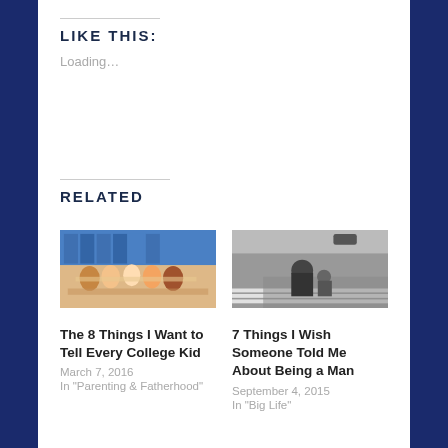LIKE THIS:
Loading…
RELATED
[Figure (photo): Group of college students studying together at a library table with bookshelves in the background]
The 8 Things I Want to Tell Every College Kid
March 7, 2016
In "Parenting & Fatherhood"
[Figure (photo): Black and white photo of an adult bending down to talk to a child at a crosswalk]
7 Things I Wish Someone Told Me About Being a Man
September 4, 2015
In "Big Life"